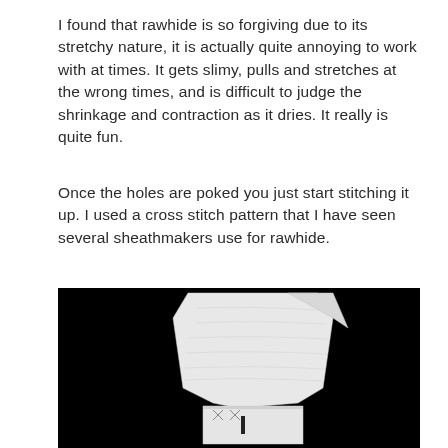I found that rawhide is so forgiving due to its stretchy nature, it is actually quite annoying to work with at times. It gets slimy, pulls and stretches at the wrong times, and is difficult to judge the shrinkage and contraction as it dries. It really is quite fun.
Once the holes are poked you just start stitching it up. I used a cross stitch pattern that I have seen several sheathmakers use for rawhide.
[Figure (photo): A photograph on a black background showing a white rawhide sheath piece folded and partially stitched, with visible cross-stitch pattern at the bottom.]